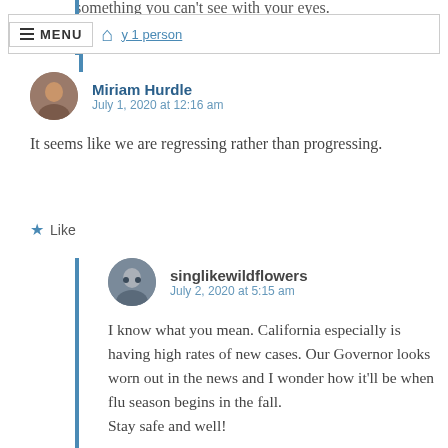something you can't see with your eyes.
MENU | home | y 1 person
Miriam Hurdle
July 1, 2020 at 12:16 am

It seems like we are regressing rather than progressing.
Like
singlikewildflowers
July 2, 2020 at 5:15 am

I know what you mean. California especially is having high rates of new cases. Our Governor looks worn out in the news and I wonder how it'll be when flu season begins in the fall.
Stay safe and well!